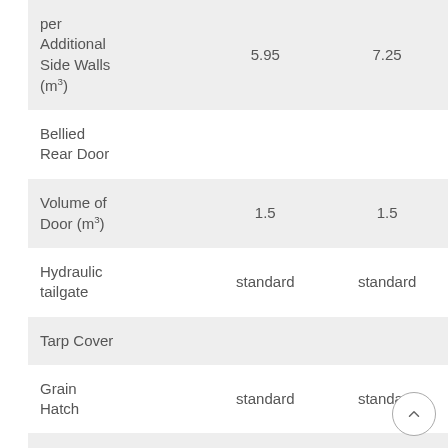| Feature | Col1 | Col2 |
| --- | --- | --- |
| per Additional Side Walls (m³) | 5.95 | 7.25 |
| Bellied Rear Door |  |  |
| Volume of Door (m³) | 1.5 | 1.5 |
| Hydraulic tailgate | standard | standard |
| Tarp Cover |  |  |
| Grain Hatch | standard | standard |
| Air Brakes |  |  |